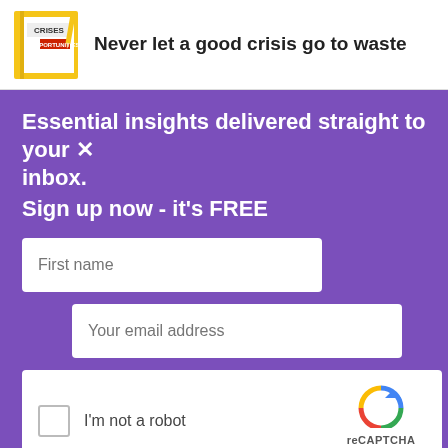[Figure (illustration): Book with yellow cover labeled CRISES and OPPORTUNITIES]
Never let a good crisis go to waste
Essential insights delivered straight to your inbox.
Sign up now - it's FREE
First name
Your email address
[Figure (screenshot): reCAPTCHA widget with checkbox I'm not a robot]
SUBSCRIBE
By submitting your details you confirm you have read our T&Cs and privacy policy.